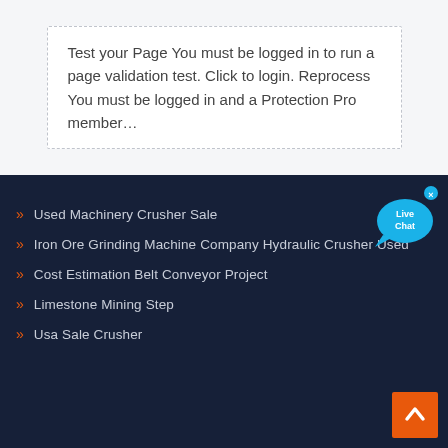Test your Page You must be logged in to run a page validation test. Click to login. Reprocess You must be logged in and a Protection Pro member...
Used Machinery Crusher Sale
Iron Ore Grinding Machine Company Hydraulic Crusher Used
Cost Estimation Belt Conveyor Project
Limestone Mining Step
Usa Sale Crusher